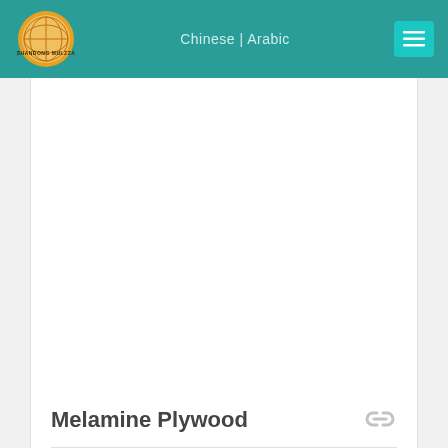Chinese | Arabic
[Figure (logo): Shandong Mulzza circular logo with globe design and text SHANDONG MULZZA]
Melamine Plywood